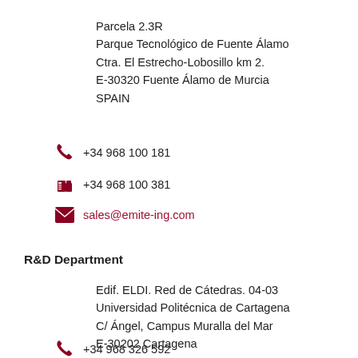Parcela 2.3R
Parque Tecnológico de Fuente Álamo
Ctra. El Estrecho-Lobosillo km 2.
E-30320 Fuente Álamo de Murcia
SPAIN
+34 968 100 181
+34 968 100 381
sales@emite-ing.com
R&D Department
Edif. ELDI. Red de Cátedras. 04-03
Universidad Politécnica de Cartagena
C/ Ángel, Campus Muralla del Mar
E-30202 Cartagena
SPAIN
+34 968 326 592